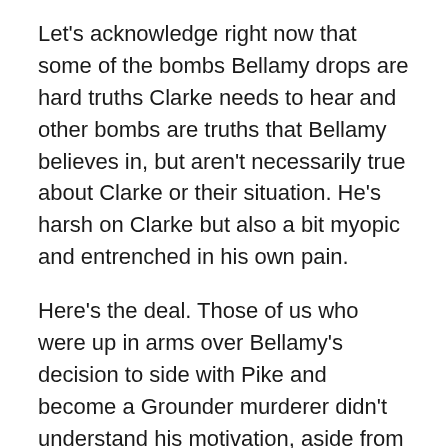Let's acknowledge right now that some of the bombs Bellamy drops are hard truths Clarke needs to hear and other bombs are truths that Bellamy believes in, but aren't necessarily true about Clarke or their situation. He's harsh on Clarke but also a bit myopic and entrenched in his own pain.
Here's the deal. Those of us who were up in arms over Bellamy's decision to side with Pike and become a Grounder murderer didn't understand his motivation, aside from a fridged girlfriend who we got all of 2 minutes to get to know. The show simply hasn't spent enough time with him to give us an insight into his psyche until now.
We have been given the benefit of a lot of exposition about Clarke's mental and emotional damage throughout this season. She is the main character, after